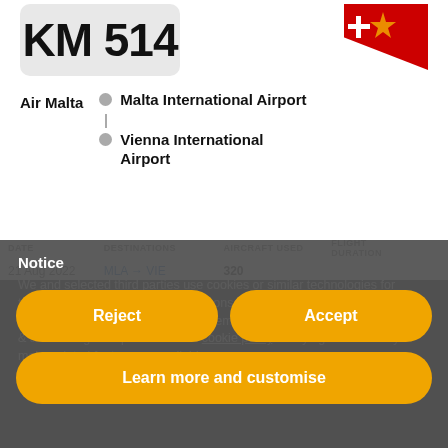KM 514
Air Malta
Malta International Airport
Vienna International Airport
| DATE | DESTINATIONS | AIRCRAFT USED | FLIGHT DURATION |
| --- | --- | --- | --- |
| 21 Aug 2022 | MLA → VIE | 320 |  |
Notice
We and selected third parties use cookies or similar technologies for technical purposes and, with your consent, for "basic interactions & functionalities", "experience enhancement", "measurement" and "targeting & advertising" as specified in the cookie policy. Denying consent may make related features unavailable.
You can freely give, deny, or withdraw your consent at any time.
Reject
Accept
Learn more and customise
| DATE | DESTINATIONS | AIRCRAFT USED | FLIGHT DURATION |
| --- | --- | --- | --- |
| 19 Aug 2022 | MLA → VIE | 32A |  |